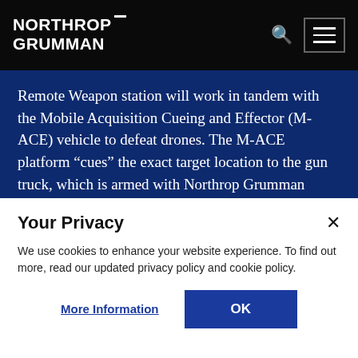NORTHROP GRUMMAN
Remote Weapon station will work in tandem with the Mobile Acquisition Cueing and Effector (M-ACE) vehicle to defeat drones. The M-ACE platform “cues” the exact target location to the gun truck, which is armed with Northrop Grumman proximity ammunition. When used together, our CUAS capabilities provide precise accuracy to identify, track and defeat moving unmanned systems.
Your Privacy
We use cookies to enhance your website experience. To find out more, read our updated privacy policy and cookie policy.
More Information
OK